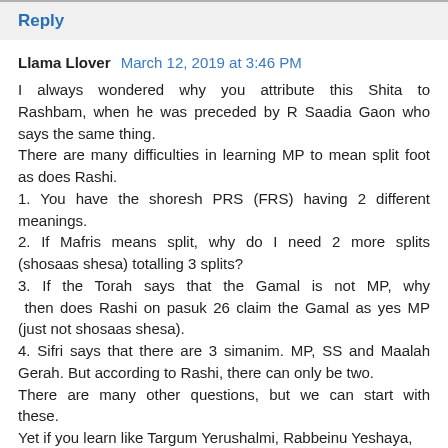Reply
Llama Llover  March 12, 2019 at 3:46 PM
I always wondered why you attribute this Shita to Rashbam, when he was preceded by R Saadia Gaon who says the same thing.
There are many difficulties in learning MP to mean split foot as does Rashi.
1. You have the shoresh PRS (FRS) having 2 different meanings.
2. If Mafris means split, why do I need 2 more splits (shosaas shesa) totalling 3 splits?
3. If the Torah says that the Gamal is not MP, why then does Rashi on pasuk 26 claim the Gamal as yes MP (just not shosaas shesa).
4. Sifri says that there are 3 simanim. MP, SS and Maalah Gerah. But according to Rashi, there can only be two.
There are many other questions, but we can start with these.
Yet if you learn like Targum Yerushalmi, Rabbeinu Yeshaya,